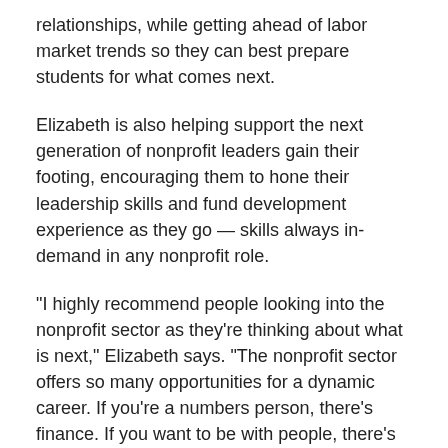relationships, while getting ahead of labor market trends so they can best prepare students for what comes next.
Elizabeth is also helping support the next generation of nonprofit leaders gain their footing, encouraging them to hone their leadership skills and fund development experience as they go — skills always in-demand in any nonprofit role.
“I highly recommend people looking into the nonprofit sector as they’re thinking about what is next,” Elizabeth says. “The nonprofit sector offers so many opportunities for a dynamic career. If you’re a numbers person, there’s finance. If you want to be with people, there’s direct services. I love to communicate and to write and I got to do that a lot.”